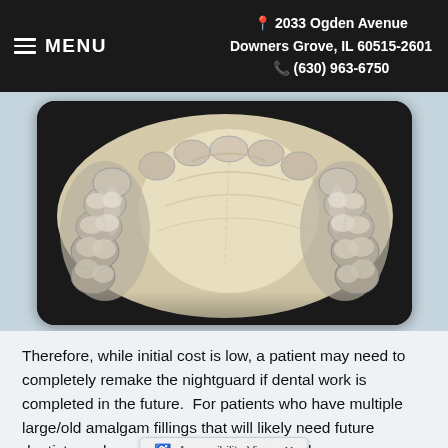≡ MENU  📍 2033 Ogden Avenue Downers Grove, IL 60515-2601 📞 (630) 963-6750
[Figure (photo): Close-up photo of a dental nightguard/occlusal guard shown from the biting surface, displaying clear plastic material molded over upper teeth including molars and premolars on both sides.]
Therefore, while initial cost is low, a patient may need to completely remake the nightguard if dental work is completed in the future.  For patients who have multiple large/old amalgam fillings that will likely need future dentistry or have a history of instability with